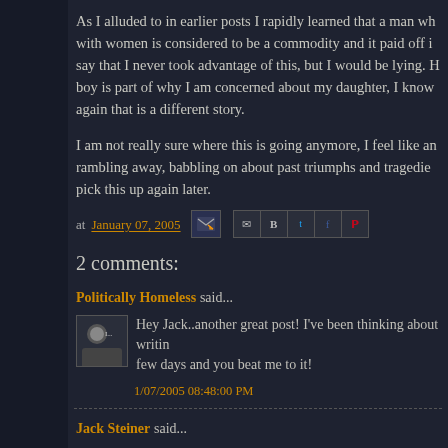As I alluded to in earlier posts I rapidly learned that a man wh with women is considered to be a commodity and it paid off i say that I never took advantage of this, but I would be lying. H boy is part of why I am concerned about my daughter, I know again that is a different story.
I am not really sure where this is going anymore, I feel like an rambling away, babbling on about past triumphs and tragedie pick this up again later.
at January 07, 2005
2 comments:
Politically Homeless said...
Hey Jack..another great post! I've been thinking about writin few days and you beat me to it!
1/07/2005 08:48:00 PM
Jack Steiner said...